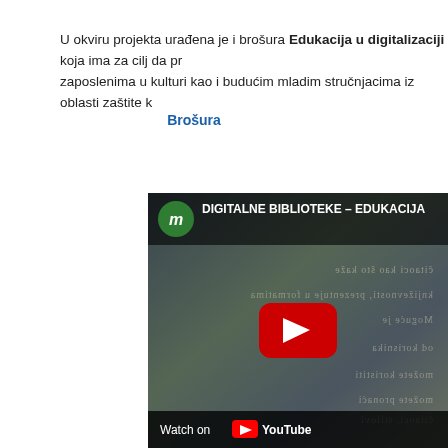U okviru projekta urađena je i brošura Edukacija u digitalizaciji koja ima za cilj da pr... zaposlenima u kulturi kao i budućim mladim stručnjacima iz oblasti zaštite k...
Brošura
[Figure (screenshot): YouTube video thumbnail for 'DIGITALNE BIBLIOTEKE – EDUKACIJA'. Shows a green channel icon with letter m, video title text, blurred background image of people, a red YouTube play button in the center, and 'Watch on YouTube' bar at the bottom.]